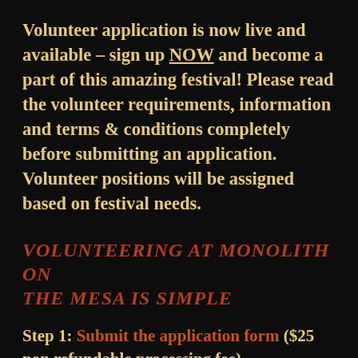Volunteer application is now live and available – sign up NOW and become a part of this amazing festival! Please read the volunteer requirements, information and terms & conditions completely before submitting an application. Volunteer positions will be assigned based on festival needs.
Volunteering at Monolith on the Mesa is simple
Step 1: Submit the application form ($25 non refundable processing fee)
Step 2: Show up to 'Volunteer...